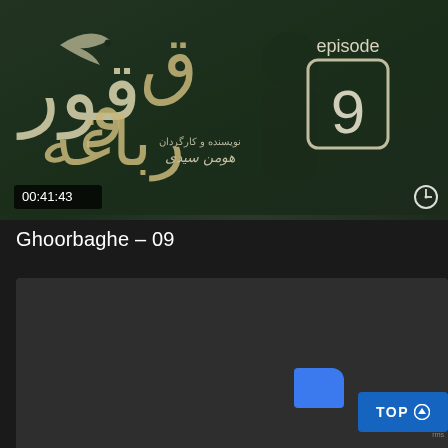[Figure (screenshot): Video thumbnail for Ghoorbaghe episode 9. Dark green background with Persian calligraphic title text and bird silhouette. Shows 'episode 9' in a rounded rectangle. Writer/director credit in Persian script. Timecode 00:41:43 in lower left, clock icon lower right.]
Ghoorbaghe – 09
[Figure (screenshot): Dark gray card thumbnail area, partially loaded. Blue 'TOP' button with up arrow in lower right corner. Folder icon partially visible.]